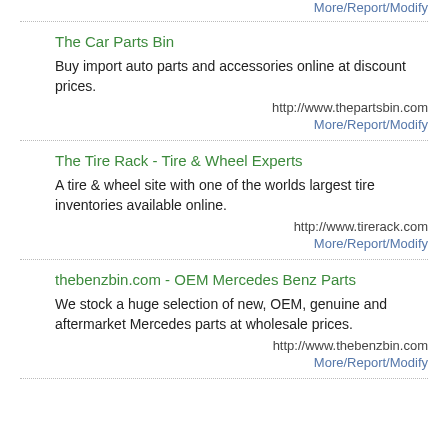More/Report/Modify
The Car Parts Bin
Buy import auto parts and accessories online at discount prices.
http://www.thepartsbin.com
More/Report/Modify
The Tire Rack - Tire & Wheel Experts
A tire & wheel site with one of the worlds largest tire inventories available online.
http://www.tirerack.com
More/Report/Modify
thebenzbin.com - OEM Mercedes Benz Parts
We stock a huge selection of new, OEM, genuine and aftermarket Mercedes parts at wholesale prices.
http://www.thebenzbin.com
More/Report/Modify